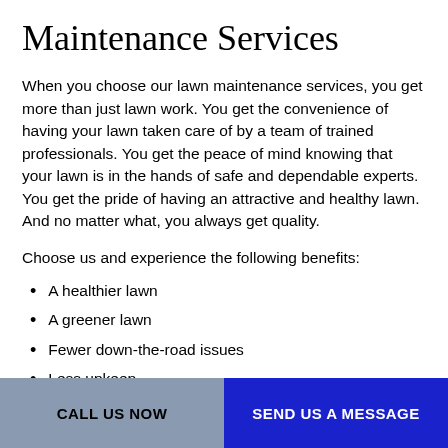Maintenance Services
When you choose our lawn maintenance services, you get more than just lawn work. You get the convenience of having your lawn taken care of by a team of trained professionals. You get the peace of mind knowing that your lawn is in the hands of safe and dependable experts. You get the pride of having an attractive and healthy lawn. And no matter what, you always get quality.
Choose us and experience the following benefits:
A healthier lawn
A greener lawn
Fewer down-the-road issues
Less upkeep
CALL US NOW   SEND US A MESSAGE